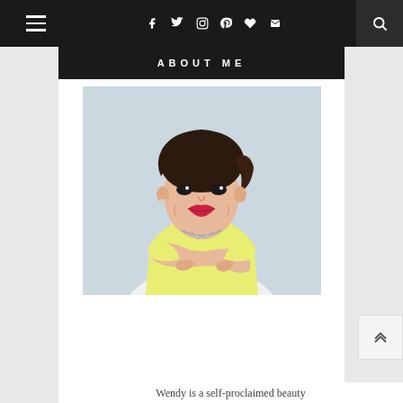Navigation bar with hamburger menu, social icons (Facebook, Twitter, Instagram, Pinterest, heart, email), and search icon
ABOUT ME
[Figure (photo): Portrait photo of a young Asian woman with short wavy dark hair, wearing a yellow sleeveless top and silver necklace, arms crossed, smiling, against a light blue-grey background]
Wendy is a self-proclaimed beauty